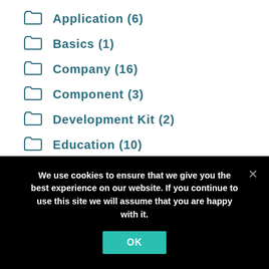Application (6)
Basics (1)
Company (16)
Component (3)
Development Kit (2)
Education (10)
Guidance (1)
Planning (2)
Project (6)
We use cookies to ensure that we give you the best experience on our website. If you continue to use this site we will assume that you are happy with it.